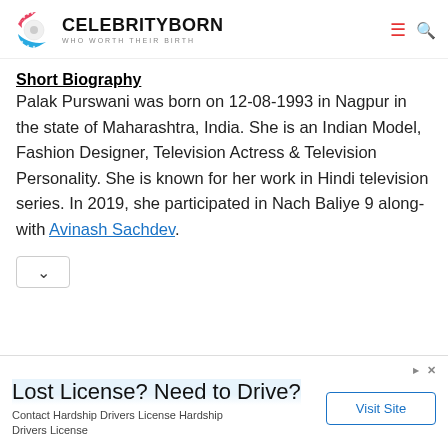CELEBRITYBORN — WHO WORTH THEIR BIRTH
Short Biography
Palak Purswani was born on 12-08-1993 in Nagpur in the state of Maharashtra, India. She is an Indian Model, Fashion Designer, Television Actress & Television Personality. She is known for her work in Hindi television series. In 2019, she participated in Nach Baliye 9 along-with Avinash Sachdev.
[Figure (other): Advertisement banner: Lost License? Need to Drive? Contact Hardship Drivers License Hardship Drivers License — Visit Site button]